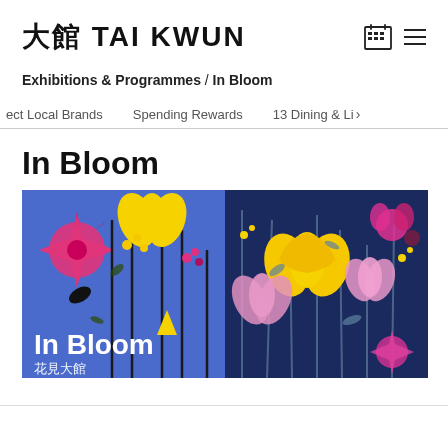大館 TAI KWUN
Exhibitions & Programmes / In Bloom
ect Local Brands   Spending Rewards   13 Dining & Li›
In Bloom
[Figure (illustration): Illustration banner showing colorful stylized flowers on a split blue/dark navy background. Left side shows bright blue background with pink, black, and yellow illustrated flowers. Right side shows dark navy background with pink and yellow flowers. White text overlay reads 'In Bloom' with Chinese text '花見大館' below it.]